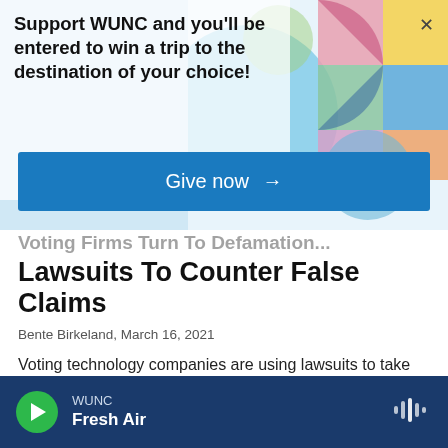Support WUNC and you'll be entered to win a trip to the destination of your choice!
Give now →
Voting Firms Turn To Defamation Lawsuits To Counter False Claims
Bente Birkeland, March 16, 2021
Voting technology companies are using lawsuits to take on false claims that they were involved in stealing the 2020 election. They say the flood of election disinformation has hurt their bottom line.
▶ LISTEN · 4:12
WUNC Fresh Air